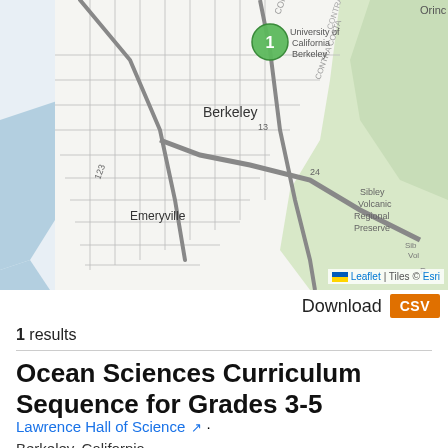[Figure (map): Street map showing Berkeley, Emeryville, and surrounding East Bay area in California, with a green circle marker labeled '1' near University of California Berkeley. Map shows highways 123, 13, 24, and CONTRA COSTA label. Sibley Volcanic Regional Preserve visible on right. Attribution: Leaflet | Tiles © Esri.]
Download  CSV
1 results
Ocean Sciences Curriculum Sequence for Grades 3-5
Lawrence Hall of Science ·
Berkeley, California